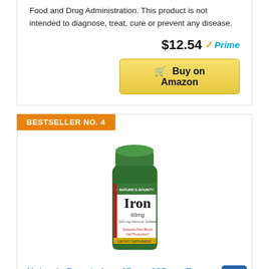Food and Drug Administration. This product is not intended to diagnose, treat, cure or prevent any disease.
$12.54 Prime
Buy on Amazon
BESTSELLER NO. 4
[Figure (photo): Nature's Bounty Iron 65mg supplement bottle with green cap and label]
Nature's Bounty Iron 65mg, 325 mg Ferrous Sulfate, Cellular Energy Support, Promotes